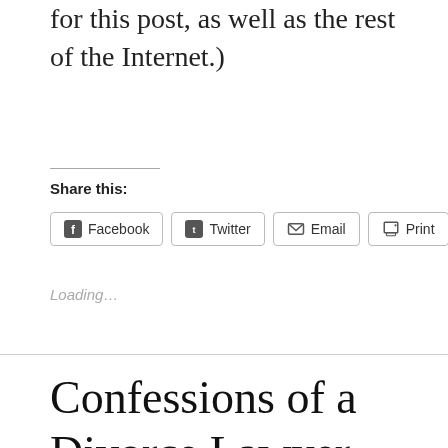for this post, as well as the rest of the Internet.)
Share this:
Facebook  Twitter  Email  Print  Pinterest
Loading...
Confessions of a Divorce Lawyer